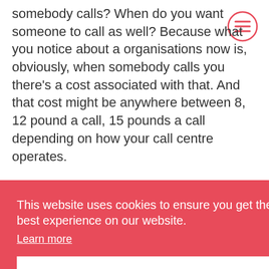somebody calls? When do you want someone to call as well? Because what you notice about organisations now is, obviously, when somebody calls you there's a cost associated with that. And that cost might be anywhere between 8, 12 pound a call, 15 pounds a call depending on how your call centre operates.

But if you think about it. If you're only interacting
[Figure (other): Hamburger menu icon inside a red circle, top-right corner]
This website uses cookies to ensure you get the best experience on our website. Learn more
OK
the apps are when we're choosing a bank, for